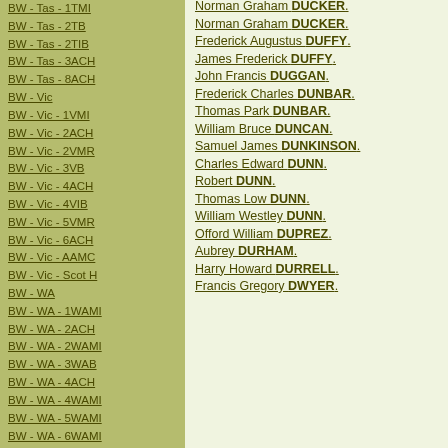BW - Tas - 1TMI
BW - Tas - 2TB
BW - Tas - 2TIB
BW - Tas - 3ACH
BW - Tas - 8ACH
BW - Vic
BW - Vic - 1VMI
BW - Vic - 2ACH
BW - Vic - 2VMR
BW - Vic - 3VB
BW - Vic - 4ACH
BW - Vic - 4VIB
BW - Vic - 5VMR
BW - Vic - 6ACH
BW - Vic - AAMC
BW - Vic - Scot H
BW - WA
BW - WA - 1WAMI
BW - WA - 2ACH
BW - WA - 2WAMI
BW - WA - 3WAB
BW - WA - 4ACH
BW - WA - 4WAMI
BW - WA - 5WAMI
BW - WA - 6WAMI
BW - WA - 8ACH
BW Gen - Campaign
BW Gen - Soldiers
Norman Graham DUCKER.
Norman Graham DUCKER.
Frederick Augustus DUFFY.
James Frederick DUFFY.
John Francis DUGGAN.
Frederick Charles DUNBAR.
Thomas Park DUNBAR.
William Bruce DUNCAN.
Samuel James DUNKINSON.
Charles Edward DUNN.
Robert DUNN.
Thomas Low DUNN.
William Westley DUNN.
Offord William DUPREZ.
Aubrey DURHAM.
Harry Howard DURRELL.
Francis Gregory DWYER.